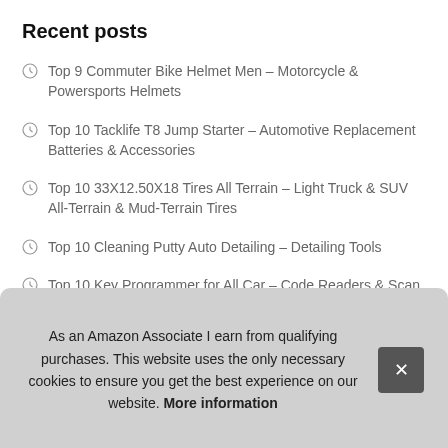Recent posts
Top 9 Commuter Bike Helmet Men – Motorcycle & Powersports Helmets
Top 10 Tacklife T8 Jump Starter – Automotive Replacement Batteries & Accessories
Top 10 33X12.50X18 Tires All Terrain – Light Truck & SUV All-Terrain & Mud-Terrain Tires
Top 10 Cleaning Putty Auto Detailing – Detailing Tools
Top 10 Key Programmer for All Car – Code Readers & Scan Tools
T…
T… Rep…
Top 10 10th Gen Accord Accessories – Automotive Air Dams
As an Amazon Associate I earn from qualifying purchases. This website uses the only necessary cookies to ensure you get the best experience on our website. More information